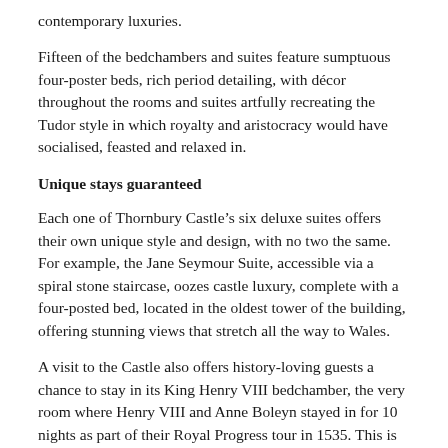contemporary luxuries.
Fifteen of the bedchambers and suites feature sumptuous four-poster beds, rich period detailing, with décor throughout the rooms and suites artfully recreating the Tudor style in which royalty and aristocracy would have socialised, feasted and relaxed in.
Unique stays guaranteed
Each one of Thornbury Castle's six deluxe suites offers their own unique style and design, with no two the same. For example, the Jane Seymour Suite, accessible via a spiral stone staircase, oozes castle luxury, complete with a four-posted bed, located in the oldest tower of the building, offering stunning views that stretch all the way to Wales.
A visit to the Castle also offers history-loving guests a chance to stay in its King Henry VIII bedchamber, the very room where Henry VIII and Anne Boleyn stayed in for 10 nights as part of their Royal Progress tour in 1535. This is located in the Castle Tower, which still has the original stone spiral steps to access the bedchamber. Alternatively, guests can choose the